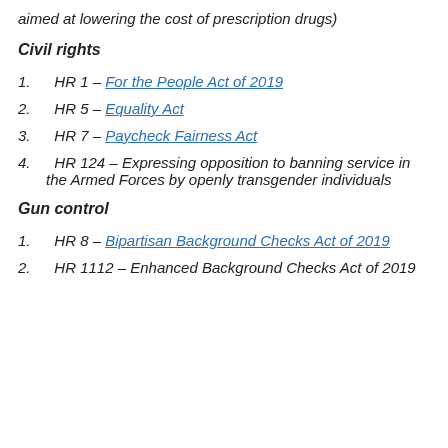aimed at lowering the cost of prescription drugs)
Civil rights
HR 1 – For the People Act of 2019
HR 5 – Equality Act
HR 7 – Paycheck Fairness Act
HR 124 – Expressing opposition to banning service in the Armed Forces by openly transgender individuals
Gun control
HR 8 – Bipartisan Background Checks Act of 2019
HR 1112 – Enhanced Background Checks Act of 2019